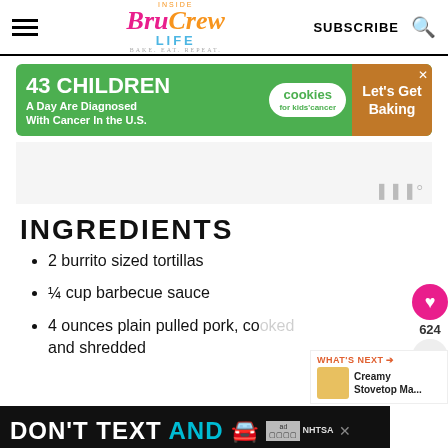Inside Bru Crew Life — BAKE. EAT. REPEAT. | SUBSCRIBE
[Figure (infographic): Advertisement banner: '43 CHILDREN A Day Are Diagnosed With Cancer In the U.S.' — cookies for kids' cancer — Let's Get Baking]
[Figure (infographic): Gray placeholder ad area with Mediavine logo]
INGREDIENTS
2 burrito sized tortillas
¼ cup barbecue sauce
4 ounces plain pulled pork, cooked and shredded
[Figure (infographic): What's Next overlay: Creamy Stovetop Ma...]
[Figure (infographic): Bottom advertisement: DON'T TEXT AND [car emoji] — NHTSA]